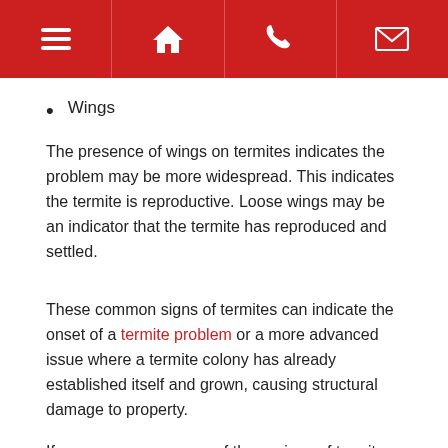[Navigation bar with menu, home, phone, and email icons]
Wings
The presence of wings on termites indicates the problem may be more widespread. This indicates the termite is reproductive. Loose wings may be an indicator that the termite has reproduced and settled.
These common signs of termites can indicate the onset of a termite problem or a more advanced issue where a termite colony has already established itself and grown, causing structural damage to property.
If you come across any of these signs of termites, or have noticed the signs of another common household pest, do not hesitate to contact us by phone on 0411 642 351 or (07) 3313 0942. Alternatively, email us at mrtermiteqld@gmail.com and see how we can help you